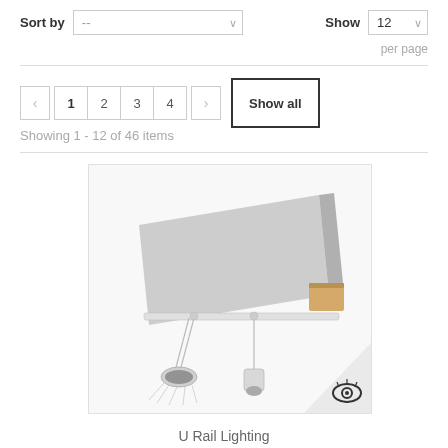Sort by  --   Show  12  per page
< 1 2 3 4 >  Show all
Showing 1 - 12 of 46 items
[Figure (photo): Product photo showing a U Rail Lighting system mounted at ceiling level with hanging cable lights and spotlights, against a white background. A watermark logo (eye icon) appears in the bottom right corner.]
U Rail Lighting